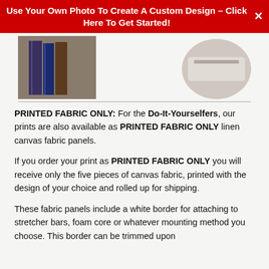Use Your Own Photo To Create A Custom Design – Click Here To Get Started!
[Figure (photo): Left: photo of books standing upright; Right: circular cropped photo of a light-colored ceramic or porcelain object]
PRINTED FABRIC ONLY: For the Do-It-Yourselfers, our prints are also available as PRINTED FABRIC ONLY linen canvas fabric panels.
If you order your print as PRINTED FABRIC ONLY you will receive only the five pieces of canvas fabric, printed with the design of your choice and rolled up for shipping.
These fabric panels include a white border for attaching to stretcher bars, foam core or whatever mounting method you choose. This border can be trimmed upon